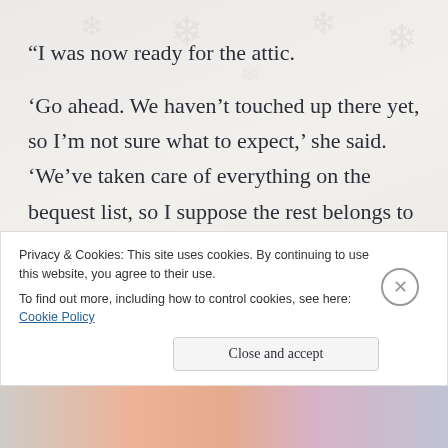“I was now ready for the attic.
‘Go ahead. We haven’t touched up there yet, so I’m not sure what to expect,’ she said. ‘We’ve taken care of everything on the bequest list, so I suppose the rest belongs to
Privacy & Cookies: This site uses cookies. By continuing to use this website, you agree to their use.
To find out more, including how to control cookies, see here: Cookie Policy
Close and accept